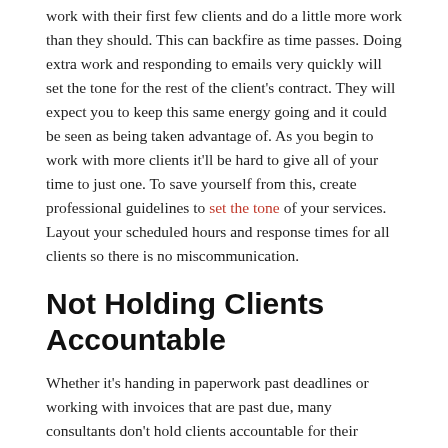work with their first few clients and do a little more work than they should. This can backfire as time passes. Doing extra work and responding to emails very quickly will set the tone for the rest of the client's contract. They will expect you to keep this same energy going and it could be seen as being taken advantage of. As you begin to work with more clients it'll be hard to give all of your time to just one. To save yourself from this, create professional guidelines to set the tone of your services. Layout your scheduled hours and response times for all clients so there is no miscommunication.
Not Holding Clients Accountable
Whether it's handing in paperwork past deadlines or working with invoices that are past due, many consultants don't hold clients accountable for their